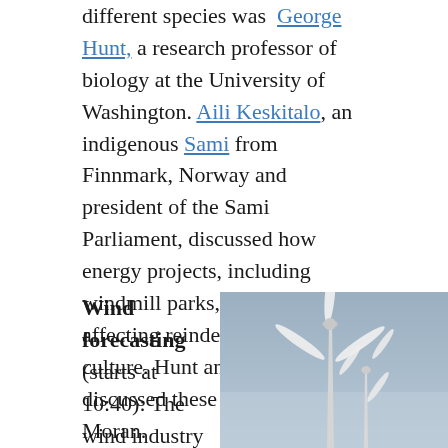different species was George Hunt, a research professor of biology at the University of Washington. Aili Keskitalo, an indigenous Sami from Finnmark, Norway and president of the Sami Parliament, discussed how energy projects, including windmill parks, are negatively affecting reindeer and Sami culture. Hunt and Keskitalo discussed these issues with Moran.
Wind forecasting (starts at 10:40): The wind industry in
[Figure (photo): Two white wind turbines against a gray-blue sky, photographed from below at an angle.]